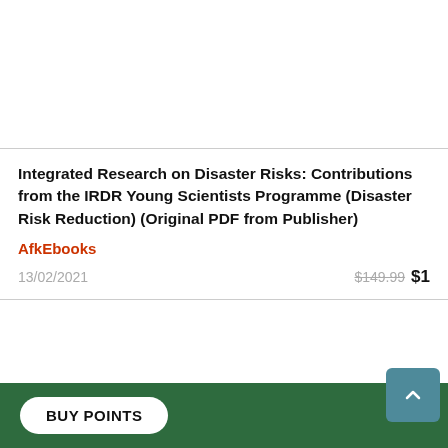[Figure (other): White space area at top, part of a product listing card]
Integrated Research on Disaster Risks: Contributions from the IRDR Young Scientists Programme (Disaster Risk Reduction) (Original PDF from Publisher)
AfkEbooks
13/02/2021   $149.99  $1
[Figure (photo): Book cover preview with globe/world map background in warm orange/peach tones, showing 'Copyrighted Material' watermark]
BUY POINTS